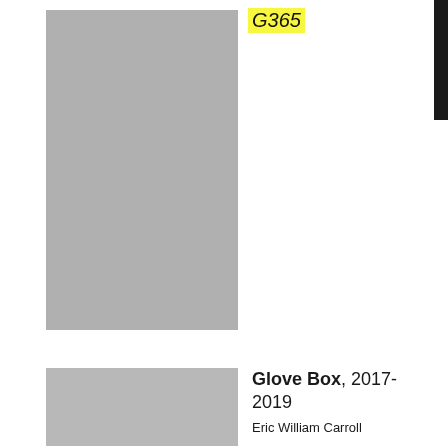G365
[Figure (photo): Large gray rectangle placeholder image, upper section]
[Figure (photo): Gray rectangle placeholder image, lower section]
Glove Box, 2017-2019
Eric William Carroll